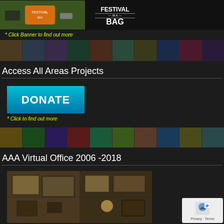[Figure (photo): Festival in a Bag product photo showing an orange backpack on grass with logo text 'FESTIVAL IN A BAG']
* Click Banner to find out more
[Figure (photo): Horizontal strip of colorful festival posters and banners]
Access All Areas Projects
[Figure (other): Cyan/teal DONATE button]
* Click to find out more
[Figure (photo): Second horizontal strip of colorful festival posters and banners]
AAA Virtual Office 2006 -2018
[Figure (photo): Interior photo of a room with framed posters and memorabilia on walls]
[Figure (other): Google Maps privacy widget with reCAPTCHA icon and 'Privacy - Terms' text]